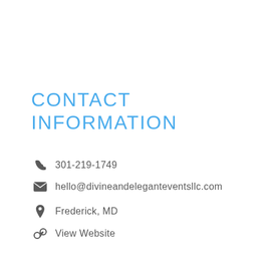CONTACT INFORMATION
301-219-1749
hello@divineandeleganteventsllc.com
Frederick, MD
View Website
[Figure (illustration): Social media icons: Facebook, Twitter, Instagram, Pinterest — blue outlined circles with white icons]